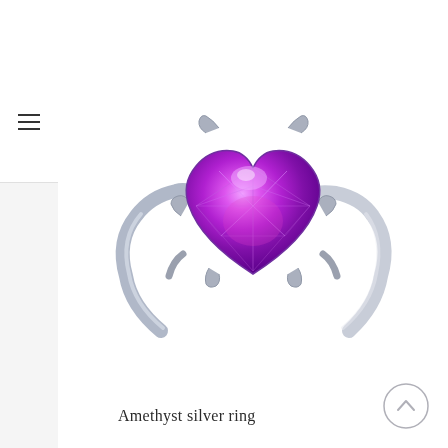[Figure (photo): A silver ring with a large heart-shaped amethyst (bright purple/violet) gemstone, set in prong settings, with a split shank band, photographed on a white background.]
Amethyst silver ring